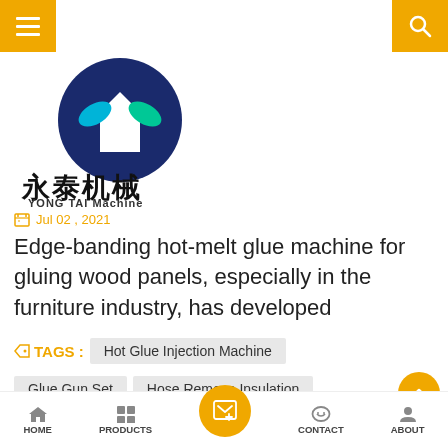YONG TAI Machine
[Figure (logo): YONG TAI Machine logo: circular logo with Y letter in blue and teal on dark blue background, with Chinese characters 永泰机械 and text YONG TAI Machine below]
Jul 02 , 2021
Edge-banding hot-melt glue machine for gluing wood panels, especially in the furniture industry, has developed
TAGS :  Hot Glue Injection Machine  Glue Gun Set  Hose Remove Insulation
READ MORE  >
YT-GL1600 Large tank hot melt roller coater feature
HOME  PRODUCTS  CONTACT  ABOUT